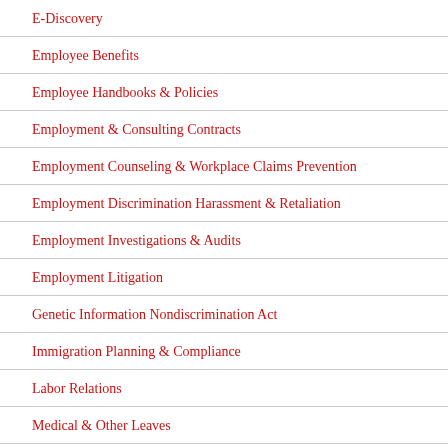E-Discovery
Employee Benefits
Employee Handbooks & Policies
Employment & Consulting Contracts
Employment Counseling & Workplace Claims Prevention
Employment Discrimination Harassment & Retaliation
Employment Investigations & Audits
Employment Litigation
Genetic Information Nondiscrimination Act
Immigration Planning & Compliance
Labor Relations
Medical & Other Leaves
Non-Compete & Trade Secret Litigation